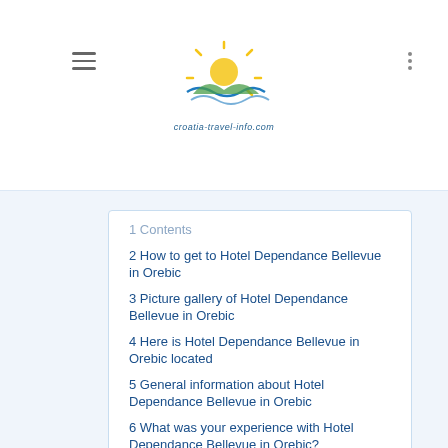[Figure (logo): Croatia Travel Info website logo with sun, waves, and green hills]
1 Contents
2 How to get to Hotel Dependance Bellevue in Orebic
3 Picture gallery of Hotel Dependance Bellevue in Orebic
4 Here is Hotel Dependance Bellevue in Orebic located
5 General information about Hotel Dependance Bellevue in Orebic
6 What was your experience with Hotel Dependance Bellevue in Orebic?
6.1 What was positive?
6.2 What was negative?
7 Address of Hotel Dependance Bellevue in Orebic
8 Excursions in the region of Hotel Dependance Bellevue in Orebic
9 Related links